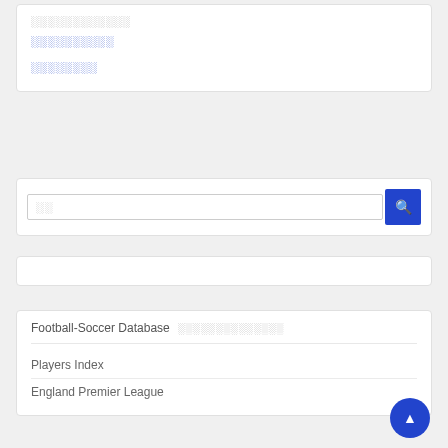░░░░░░░░░░░░
░░░░░░░░░░
░░░░░░░░
░░ [search placeholder]
Football-Soccer Database  ░░░░░░░░░░░░░░
Players Index
England Premier League